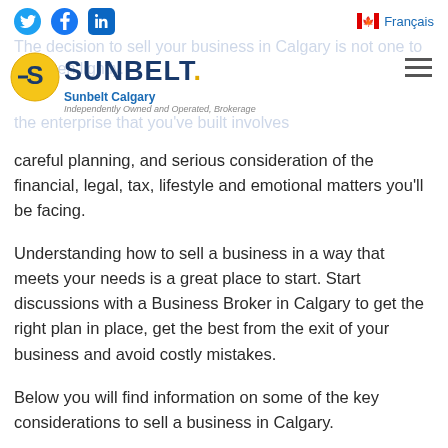Social icons: Twitter, Facebook, LinkedIn | Français
[Figure (logo): Sunbelt Calgary logo with circular S emblem, wordmark SUNBELT., subtitle 'Sunbelt Calgary', tagline 'Independently Owned and Operated, Brokerage']
careful planning, and serious consideration of the financial, legal, tax, lifestyle and emotional matters you'll be facing.
Understanding how to sell a business in a way that meets your needs is a great place to start. Start discussions with a Business Broker in Calgary to get the right plan in place, get the best from the exit of your business and avoid costly mistakes.
Below you will find information on some of the key considerations to sell a business in Calgary.